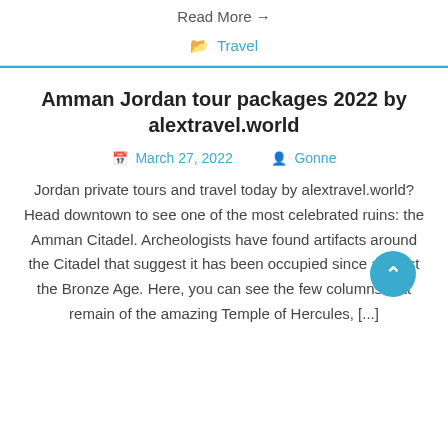Read More →
📁 Travel
Amman Jordan tour packages 2022 by alextravel.world
March 27, 2022   Gonne
Jordan private tours and travel today by alextravel.world? Head downtown to see one of the most celebrated ruins: the Amman Citadel. Archeologists have found artifacts around the Citadel that suggest it has been occupied since at least the Bronze Age. Here, you can see the few columns that remain of the amazing Temple of Hercules, [...]